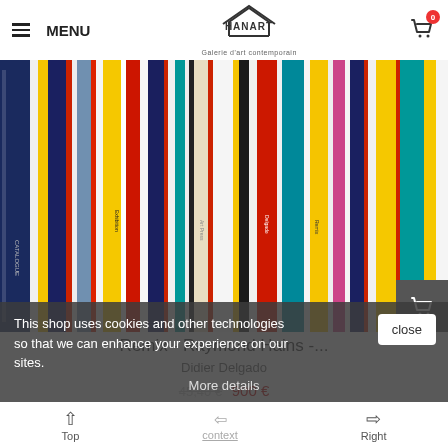MENU | HANGART Galerie d'art contemporain | Cart 0
[Figure (photo): Close-up photograph of colorful book spines lined up side by side — includes blue, yellow, red, white, black, teal, pink and other colored spines.]
Remix - Raymond Hains -...
Didier Delgado
900 €
This shop uses cookies and other technologies so that we can enhance your experience on our sites.
More details
close
Top | Right